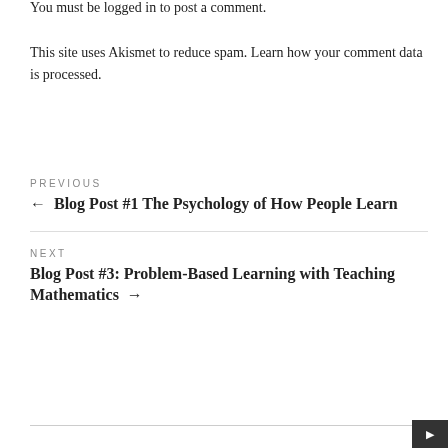You must be logged in to post a comment.
This site uses Akismet to reduce spam. Learn how your comment data is processed.
PREVIOUS
← Blog Post #1 The Psychology of How People Learn
NEXT
Blog Post #3: Problem-Based Learning with Teaching Mathematics →